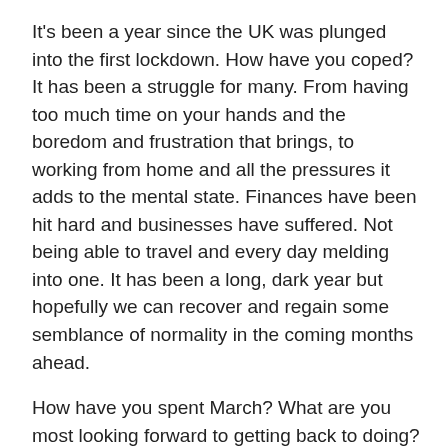It's been a year since the UK was plunged into the first lockdown. How have you coped? It has been a struggle for many. From having too much time on your hands and the boredom and frustration that brings, to working from home and all the pressures it adds to the mental state. Finances have been hit hard and businesses have suffered. Not being able to travel and every day melding into one. It has been a long, dark year but hopefully we can recover and regain some semblance of normality in the coming months ahead.
How have you spent March? What are you most looking forward to getting back to doing?
Take care,
Christine x